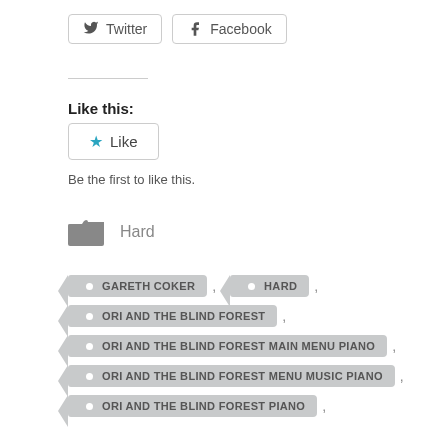[Figure (other): Twitter and Facebook share buttons]
Like this:
[Figure (other): Like button with blue star icon]
Be the first to like this.
[Figure (other): Folder icon with label 'Hard']
GARETH COKER
HARD
ORI AND THE BLIND FOREST
ORI AND THE BLIND FOREST MAIN MENU PIANO
ORI AND THE BLIND FOREST MENU MUSIC PIANO
ORI AND THE BLIND FOREST PIANO